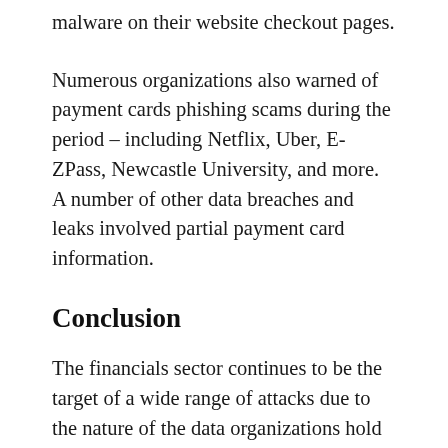malware on their website checkout pages.
Numerous organizations also warned of payment cards phishing scams during the period – including Netflix, Uber, E-ZPass, Newcastle University, and more. A number of other data breaches and leaks involved partial payment card information.
Conclusion
The financials sector continues to be the target of a wide range of attacks due to the nature of the data organizations hold and the services they provide. As we noted in our Fraud and the